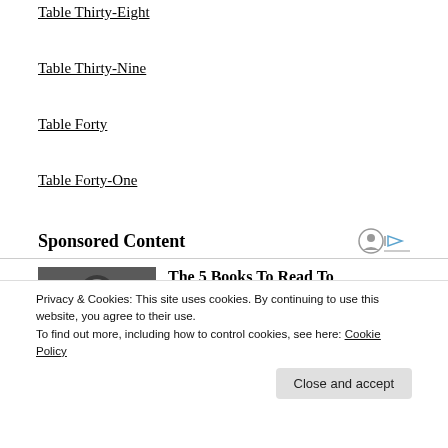Table Thirty-Eight
Table Thirty-Nine
Table Forty
Table Forty-One
Sponsored Content
[Figure (photo): Black and white portrait photo of a person with curly hair and round glasses]
The 5 Books To Read To Transform Your Life in 2022
Privacy & Cookies: This site uses cookies. By continuing to use this website, you agree to their use.
To find out more, including how to control cookies, see here: Cookie Policy
Close and accept